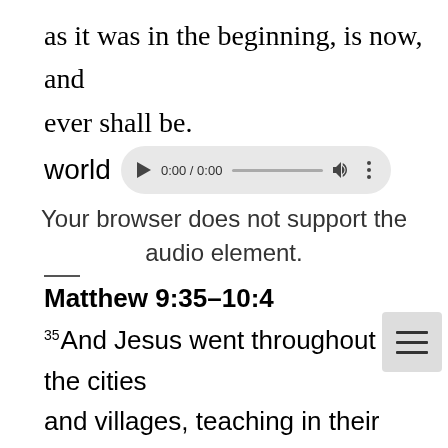as it was in the beginning, is now, and ever shall be.
world
[Figure (screenshot): Audio player UI showing play button, 0:00 / 0:00 time display, progress bar, volume icon, and options dots. Also a menu/hamburger button icon.]
Your browser does not support the audio element.
Matthew 9:35–10:4
35 And Jesus went throughout all the cities and villages, teaching in their synagogues and proclaiming the gospel of the kingdom and healing every